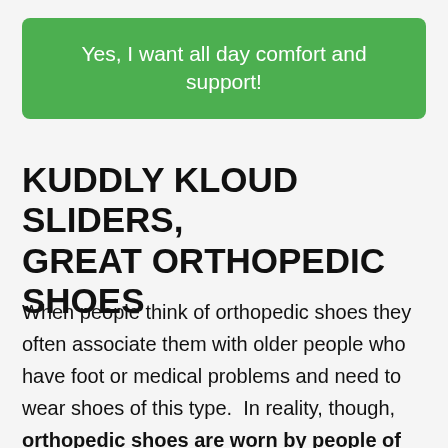Yes, I want all day comfort and support!
KUDDLY KLOUD SLIDERS, GREAT ORTHOPEDIC SHOES
When people think of orthopedic shoes they often associate them with older people who have foot or medical problems and need to wear shoes of this type.  In reality, though, orthopedic shoes are worn by people of all ages who either suffer from poor foot mechanics or want to prevent any